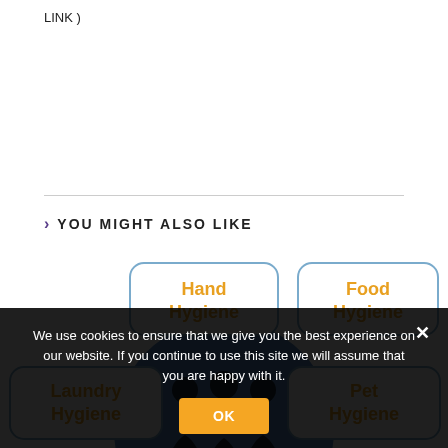LINK )
> YOU MIGHT ALSO LIKE
[Figure (infographic): Infographic showing hygiene topics: Hand Hygiene (top left), Food Hygiene (top right), Laundry Hygiene (middle left), Pet Hygiene (middle right), with a blue circle containing silhouettes of three people in the center.]
We use cookies to ensure that we give you the best experience on our website. If you continue to use this site we will assume that you are happy with it.